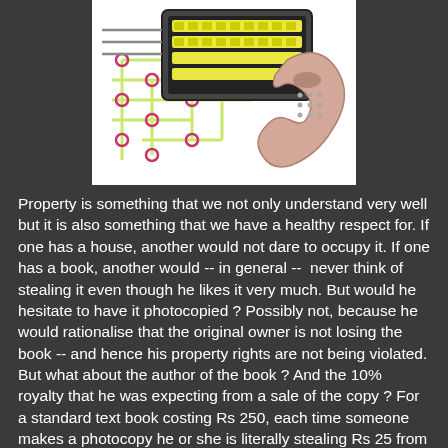[Figure (illustration): Cartoon illustration of a computer/circuit board with a telephone handset on a dark background, depicting technology and intellectual property themes.]
Property is something that we not only understand very well but it is also something that we have a healthy respect for. If one has a house, another would not dare to occupy it. If one has a book, another would -- in general --  never think of stealing it even though he likes it very much. But would he hesitate to have it photocopied ? Possibly not, because he would rationalise that the original owner is not losing the book -- and hence his property rights are not being violated. But what about the author of the book ? And the 10% royalty that he was expecting from a sale of the copy ? For a standard text book costing Rs 250, each time someone makes a photocopy he or she is literally stealing Rs 25 from the author's pocket ! It is the same when someone rips a music CD, creates mp3 files and uploads it for "free" download on the internet. The real tragedy of the theft of intellectual property is not merely the financial loss suffered by the IP owner -- though that is big enough -- but that